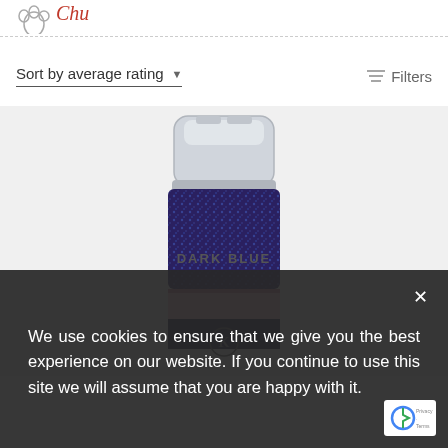[Figure (logo): Partial script logo visible at top of page, red cursive text partially visible]
Sort by average rating
Filters
[Figure (photo): A small jar/bottle of dark blue glitter or sugar sprinkles with a clear plastic lid, viewed from the side showing the blue granules through the transparent container. The bottom portion shows a circular logo with the letter K.]
DARK BLUE
We use cookies to ensure that we give you the best experience on our website. If you continue to use this site we will assume that you are happy with it.